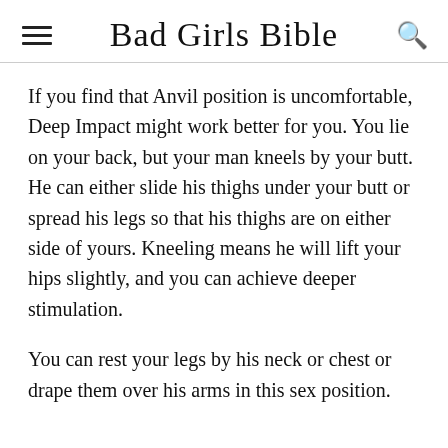Bad Girls Bible
If you find that Anvil position is uncomfortable, Deep Impact might work better for you. You lie on your back, but your man kneels by your butt. He can either slide his thighs under your butt or spread his legs so that his thighs are on either side of yours. Kneeling means he will lift your hips slightly, and you can achieve deeper stimulation.
You can rest your legs by his neck or chest or drape them over his arms in this sex position.